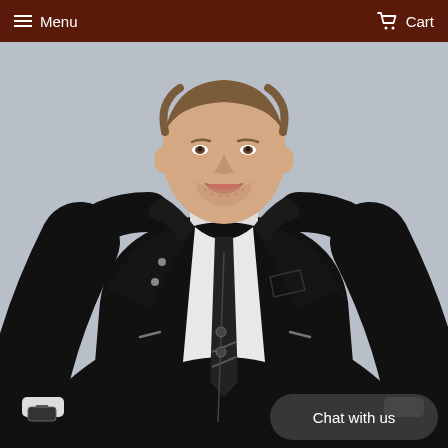Menu  Cart
[Figure (photo): Man wearing a black leather biker jacket over a white dress shirt with a black tie, hands on hips, smiling. A chat button overlay reads 'Chat with us' in the bottom right corner.]